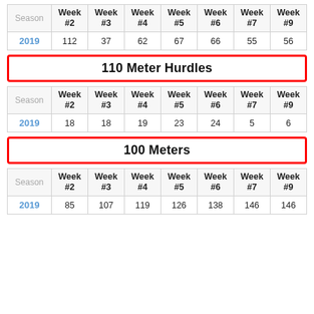| Season | Week #2 | Week #3 | Week #4 | Week #5 | Week #6 | Week #7 | Week #9 |
| --- | --- | --- | --- | --- | --- | --- | --- |
| 2019 | 112 | 37 | 62 | 67 | 66 | 55 | 56 |
110 Meter Hurdles
| Season | Week #2 | Week #3 | Week #4 | Week #5 | Week #6 | Week #7 | Week #9 |
| --- | --- | --- | --- | --- | --- | --- | --- |
| 2019 | 18 | 18 | 19 | 23 | 24 | 5 | 6 |
100 Meters
| Season | Week #2 | Week #3 | Week #4 | Week #5 | Week #6 | Week #7 | Week #9 |
| --- | --- | --- | --- | --- | --- | --- | --- |
| 2019 | 85 | 107 | 119 | 126 | 138 | 146 | 146 |